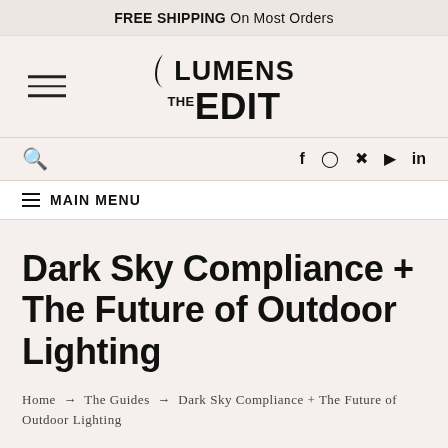FREE SHIPPING On Most Orders
[Figure (logo): Lumens The Edit logo with hamburger menu icon on left]
f  Instagram  Pinterest  YouTube  in  (search icon)
MAIN MENU
Dark Sky Compliance + The Future of Outdoor Lighting
Home → The Guides → Dark Sky Compliance + The Future of Outdoor Lighting